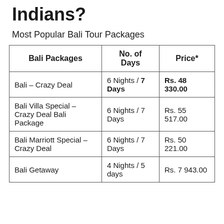Indians?
Most Popular Bali Tour Packages
| Bali Packages | No. of Days | Price* |
| --- | --- | --- |
| Bali – Crazy Deal | 6 Nights / 7 Days | Rs. 48 330.00 |
| Bali Villa Special – Crazy Deal Bali Package | 6 Nights / 7 Days | Rs. 55 517.00 |
| Bali Marriott Special – Crazy Deal | 6 Nights / 7 Days | Rs. 50 221.00 |
| Bali Getaway | 4 Nights / 5 days | Rs. 7 943.00 |